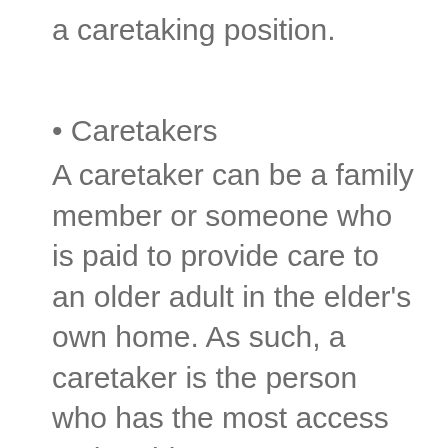a caretaking position.
• Caretakers
A caretaker can be a family member or someone who is paid to provide care to an older adult in the elder's own home. As such, a caretaker is the person who has the most access to the elder.
• Professionals in whom the elder trusts
Professionals are people in